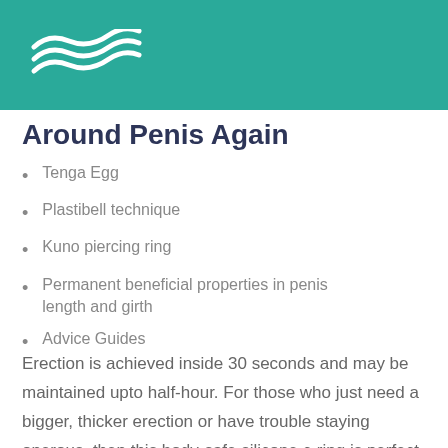[Figure (logo): White wave/swirl logo on teal background header bar]
Around Penis Again
Tenga Egg
Plastibell technique
Kuno piercing ring
Permanent beneficial properties in penis length and girth
Advice Guides
Erection is achieved inside 30 seconds and may be maintained upto half-hour. For those who just need a bigger, thicker erection or have trouble staying onerous, then this body-safe silicone c-ring is perfect for �ou. Whereas, C and � are onerous, I